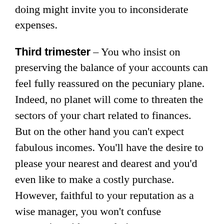doing might invite you to inconsiderate expenses.
Third trimester – You who insist on preserving the balance of your accounts can feel fully reassured on the pecuniary plane. Indeed, no planet will come to threaten the sectors of your chart related to finances. But on the other hand you can't expect fabulous incomes. You'll have the desire to please your nearest and dearest and you'd even like to make a costly purchase. However, faithful to your reputation as a wise manager, you won't confuse generosity with squandering.
Fourth trimester – Your financial balance will be protected by a beneficent planet, Tu Vi, who should as a rule assure you of good stability. Those of you who've gone through a lean period can expect more significant incomes. The situation will therefore be ripe for managing your budget at best. You should profit by it to open a savings account: This will help you to put some money